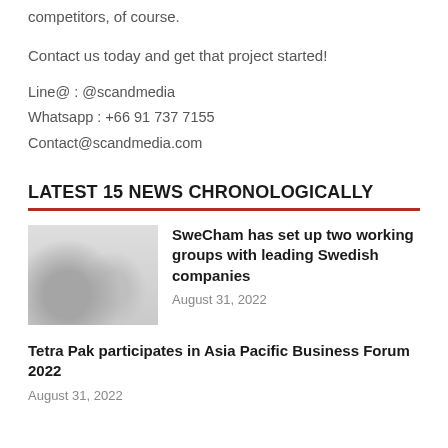competitors, of course.
Contact us today and get that project started!
Line@ : @scandmedia
Whatsapp : +66 91 737 7155
Contact@scandmedia.com
LATEST 15 NEWS CHRONOLOGICALLY
[Figure (photo): Blurry group photo of people at an event]
SweCham has set up two working groups with leading Swedish companies
August 31, 2022
Tetra Pak participates in Asia Pacific Business Forum 2022
August 31, 2022